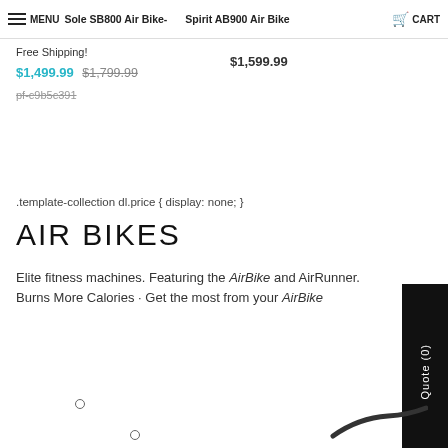MENU | Sole SB800 Air Bike- | Spirit AB900 Air Bike | CART
Free Shipping!
$1,499.99 $1,799.99
pf-c9b5c391
$1,599.99
.template-collection dl.price { display: none; }
AIR BIKES
Elite fitness machines. Featuring the AirBike and AirRunner. Burns More Calories · Get the most from your AirBike